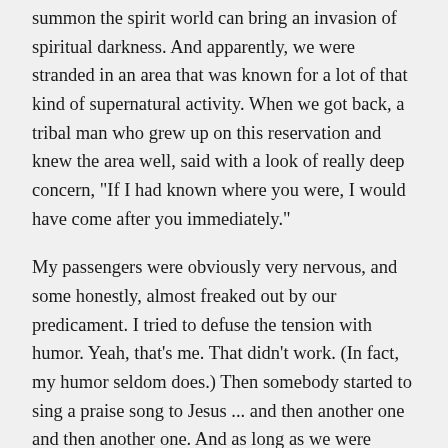summon the spirit world can bring an invasion of spiritual darkness. And apparently, we were stranded in an area that was known for a lot of that kind of supernatural activity. When we got back, a tribal man who grew up on this reservation and knew the area well, said with a look of really deep concern, "If I had known where you were, I would have come after you immediately."
My passengers were obviously very nervous, and some honestly, almost freaked out by our predicament. I tried to defuse the tension with humor. Yeah, that's me. That didn't work. (In fact, my humor seldom does.) Then somebody started to sing a praise song to Jesus ... and then another one and then another one. And as long as we were praising, there was like this peace and calm. Whenever we stopped praising, you could cut the air with a knife. Thanks to a Good Samaritan God sent, we ultimately got some fuel; we got home, but only after an